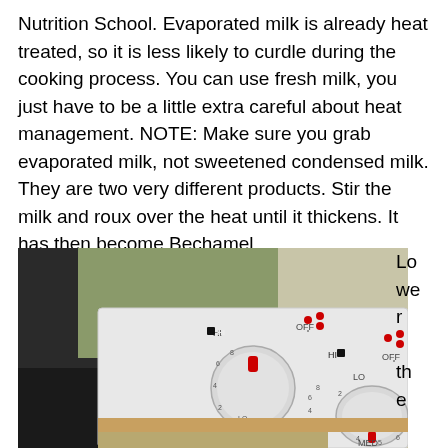Nutrition School. Evaporated milk is already heat treated, so it is less likely to curdle during the cooking process. You can use fresh milk, you just have to be a little extra careful about heat management. NOTE: Make sure you grab evaporated milk, not sweetened condensed milk. They are two very different products. Stir the milk and roux over the heat until it thickens. It has then become Bechamel.
[Figure (photo): Close-up photo of a white electric stove control panel showing two large dial knobs with settings including HI, OFF, LO, MED, and numbered positions 2-8. A pot or pan is visible at the bottom of the image.]
Lower the heat and